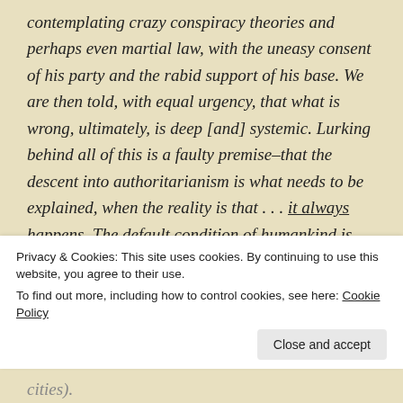contemplating crazy conspiracy theories and perhaps even martial law, with the uneasy consent of his party and the rabid support of his base. We are then told, with equal urgency, that what is wrong, ultimately, is deep [and] systemic. Lurking behind all of this is a faulty premise–that the descent into authoritarianism is what needs to be explained, when the reality is that . . . it always happens. The default condition of humankind is not to thrive in broadly egalitarian and stable
Privacy & Cookies: This site uses cookies. By continuing to use this website, you agree to their use.
To find out more, including how to control cookies, see here: Cookie Policy
Close and accept
cities).